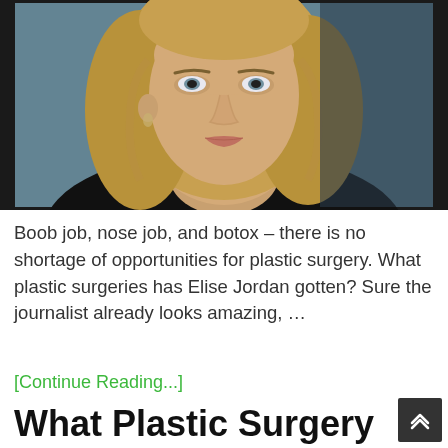[Figure (photo): Close-up photo of a blonde woman with a bob haircut, wearing a dark top, appearing to speak, against a blurred background.]
Boob job, nose job, and botox – there is no shortage of opportunities for plastic surgery. What plastic surgeries has Elise Jordan gotten? Sure the journalist already looks amazing, …
[Continue Reading...]
What Plastic Surgery Has CoCo Vandeweghe Gotten? Body